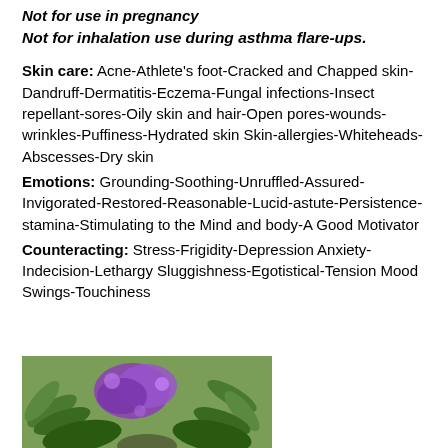Not for use in pregnancy
Not for inhalation use during asthma flare-ups.
Skin care: Acne-Athlete's foot-Cracked and Chapped skin-Dandruff-Dermatitis-Eczema-Fungal infections-Insect repellant-sores-Oily skin and hair-Open pores-wounds-wrinkles-Puffiness-Hydrated skin Skin-allergies-Whiteheads- Abscesses-Dry skin Emotions: Grounding-Soothing-Unruffled-Assured-Invigorated-Restored-Reasonable-Lucid-astute-Persistence-stamina-Stimulating to the Mind and body-A Good Motivator Counteracting: Stress-Frigidity-Depression Anxiety-Indecision-Lethargy Sluggishness-Egotistical-Tension Mood Swings-Touchiness
[Figure (photo): Photo of a floral arrangement with purple flowers and green ferns]